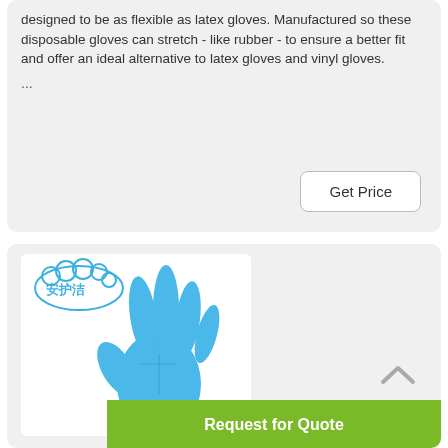designed to be as flexible as latex gloves. Manufactured so these disposable gloves can stretch - like rubber - to ensure a better fit and offer an ideal alternative to latex gloves and vinyl gloves.
...
Get Price
[Figure (photo): Blue nitrile disposable glove product image with Chinese brand logo (安护洁) in the top left corner, showing a raised blue gloved hand on a white background]
Request for Quote